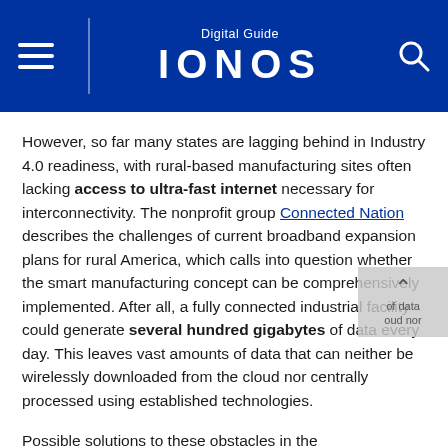Digital Guide IONOS
However, so far many states are lagging behind in Industry 4.0 readiness, with rural-based manufacturing sites often lacking access to ultra-fast internet necessary for interconnectivity. The nonprofit group Connected Nation describes the challenges of current broadband expansion plans for rural America, which calls into question whether the smart manufacturing concept can be comprehensively implemented. After all, a fully connected industrial facility could generate several hundred gigabytes of data every day. This leaves vast amounts of data that can neither be wirelessly downloaded from the cloud nor centrally processed using established technologies.
Possible solutions to these obstacles in the implementation of IoT are being developed in the field of fog computing.